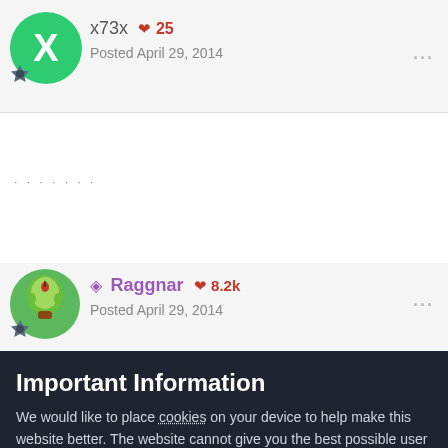x73x ❤ 25
Posted April 29, 2014
......
Raggnar ❤ 8.2k
Posted April 29, 2014
Important Information
We would like to place cookies on your device to help make this website better. The website cannot give you the best possible user experience without cookies. You can accept or decline our non-essential cookies. You may also adjust your cookie settings. Privacy Policy - Guidelines
✕  I decline
✓  I accept